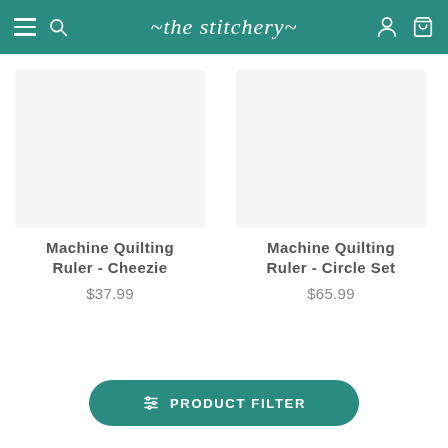the stitchery
Machine Quilting Ruler - Cheezie
$37.99
Machine Quilting Ruler - Circle Set
$65.99
PRODUCT FILTER